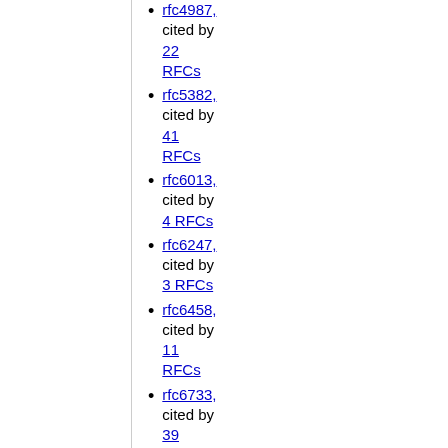rfc4987, cited by 22 RFCs
rfc5382, cited by 41 RFCs
rfc6013, cited by 4 RFCs
rfc6247, cited by 3 RFCs
rfc6458, cited by 11 RFCs
rfc6733, cited by 39 RFCs
rfc7413, cited by 26 RFCs
rfc7414, cited by